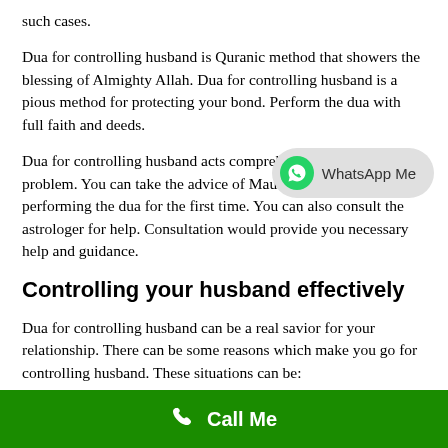such cases.
Dua for controlling husband is Quranic method that showers the blessing of Almighty Allah. Dua for controlling husband is a pious method for protecting your bond. Perform the dua with full faith and deeds.
[Figure (other): WhatsApp Me button overlay - grey rounded pill button with WhatsApp green icon and text 'WhatsApp Me']
Dua for controlling husband acts comprehensively on your problem. You can take the advice of Maulvi, Imam if you are performing the dua for the first time. You can also consult the astrologer for help. Consultation would provide you necessary help and guidance.
Controlling your husband effectively
Dua for controlling husband can be a real savior for your relationship. There can be some reasons which make you go for controlling husband. These situations can be:
[Figure (other): Green footer bar with white phone icon and bold white text 'Call Me']